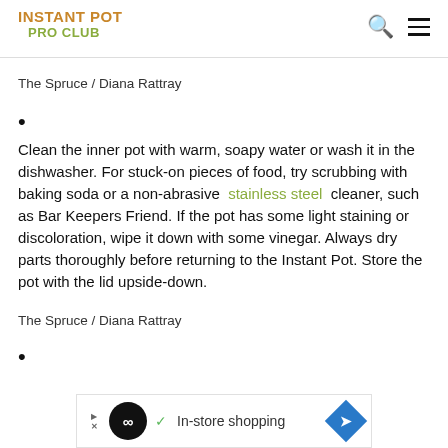INSTANT POT PRO CLUB
The Spruce / Diana Rattray
Clean the inner pot with warm, soapy water or wash it in the dishwasher. For stuck-on pieces of food, try scrubbing with baking soda or a non-abrasive stainless steel cleaner, such as Bar Keepers Friend. If the pot has some light staining or discoloration, wipe it down with some vinegar. Always dry parts thoroughly before returning to the Instant Pot. Store the pot with the lid upside-down.
The Spruce / Diana Rattray
[Figure (other): Advertisement banner: circular dark icon with infinity symbol, checkmark, 'In-store shopping' text, and blue diamond arrow icon]